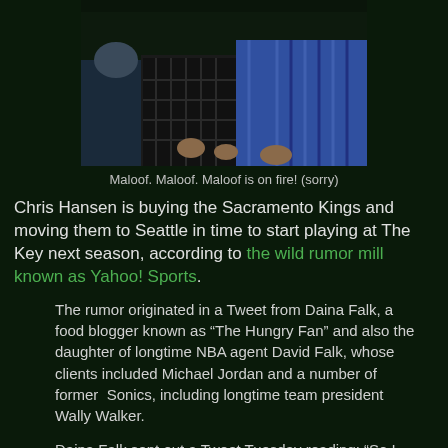[Figure (photo): Three people seated, one in a black plaid shirt in the middle, one in a blue striped shirt on the right, partially visible person on the left in a light blue shirt]
Maloof. Maloof. Maloof is on fire! (sorry)
Chris Hansen is buying the Sacramento Kings and moving them to Seattle in time to start playing at The Key next season, according to the wild rumor mill known as Yahoo! Sports.
The rumor originated in a Tweet from Daina Falk, a food blogger known as “The Hungry Fan” and also the daughter of longtime NBA agent David Falk, whose clients included Michael Jordan and a number of former  Sonics, including longtime team president Wally Walker.
Daina Falk sent out a Tweet Tuesday reading: “So I hear that the Seattle Kings is officially a done deal! The Maloofs (the family that owns the